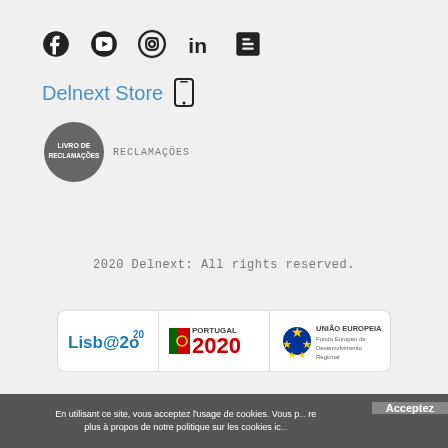[Figure (other): Social media icons row: Facebook, YouTube, Instagram, LinkedIn, Blogger icons in dark/black]
Delnext Store 📱
[Figure (logo): Livro de Reclamações circular badge in dark grey with text LIVRO DE RECLAMAÇÕES]
2020 Delnext: All rights reserved.
[Figure (logo): Three EU funding logos: Lisb@2020, Portugal 2020, União Europeia Fundo Europeu de Desenvolvimento Regional]
En utilisant ce site, vous acceptez l'usage de cookies. Vous p... re plus à propos de notre politique sur les cookies ic...